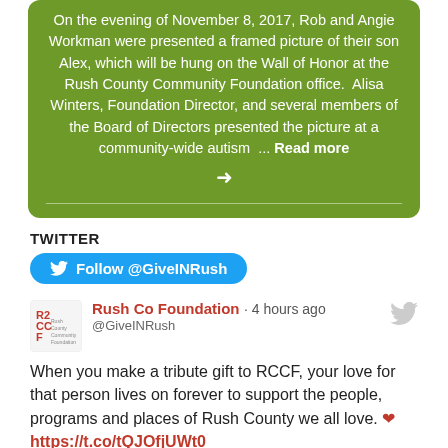On the evening of November 8, 2017, Rob and Angie Workman were presented a framed picture of their son Alex, which will be hung on the Wall of Honor at the Rush County Community Foundation office. Alisa Winters, Foundation Director, and several members of the Board of Directors presented the picture at a community-wide autism ... Read more →
TWITTER
Follow @GiveINRush
Rush Co Foundation · 4 hours ago @GiveINRush
When you make a tribute gift to RCCF, your love for that person lives on forever to support the people, programs and places of Rush County we all love. ❤ https://t.co/tQJOfjUWt0
Retweet 2  Like 0  Share